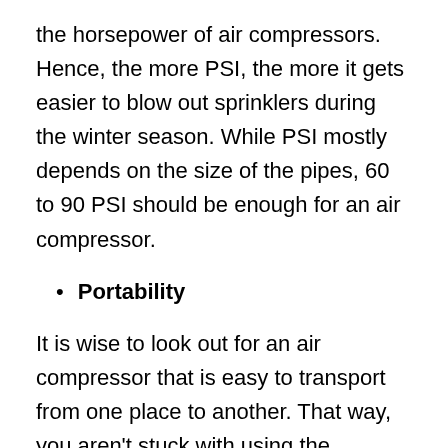the horsepower of air compressors. Hence, the more PSI, the more it gets easier to blow out sprinklers during the winter season. While PSI mostly depends on the size of the pipes, 60 to 90 PSI should be enough for an air compressor.
Portability
It is wise to look out for an air compressor that is easy to transport from one place to another. That way, you aren't stuck with using the equipment within a certain area of your farm or home. So, try to look out for lightweight models that are easy to move around. In short, a model with transportation wheels is what you